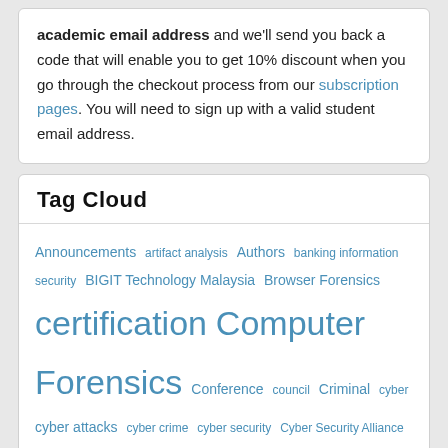academic email address and we'll send you back a code that will enable you to get 10% discount when you go through the checkout process from our subscription pages. You will need to sign up with a valid student email address.
Tag Cloud
Announcements artifact analysis Authors banking information security BIGIT Technology Malaysia Browser Forensics certification Computer Forensics Conference council Criminal cyber cyber attacks cyber crime cyber security Cyber Security Alliance DataArt DCMS digital forensics Digital Forensics Magazine financial cyber attack forensics Forensic Tools GPS illegal software Investigations iOS4 iPad iPhone John Edge Messaging Mobile Mobile Device Forensics mobile forensics papers Privacy Profiling Reviewers software pirating Survey Techniques training triage virtualization Witness